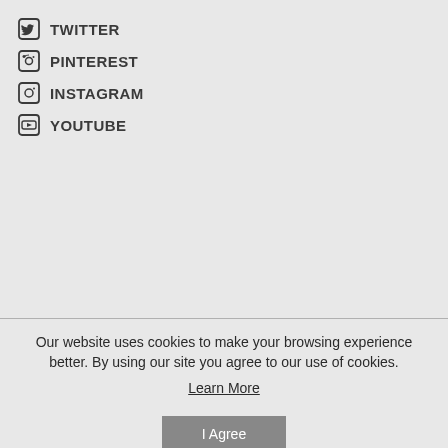TWITTER
PINTEREST
INSTAGRAM
YOUTUBE
Our website uses cookies to make your browsing experience better. By using our site you agree to our use of cookies.
Learn More
I Agree